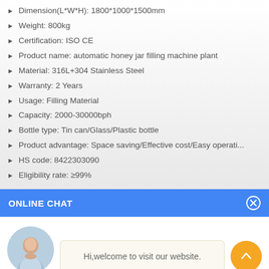Dimension(L*W*H): 1800*1000*1500mm
Weight: 800kg
Certification: ISO CE
Product name: automatic honey jar filling machine plant
Material: 316L+304 Stainless Steel
Warranty: 2 Years
Usage: Filling Material
Capacity: 2000-30000bph
Bottle type: Tin can/Glass/Plastic bottle
Product advantage: Space saving/Effective cost/Easy operati...
HS code: 8422303090
Eligibility rate: ≥99%
ONLINE CHAT
Hi,welcome to visit our website.
Cilina